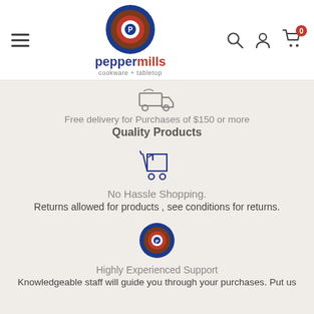[Figure (logo): Peppermills cookware + tabletop logo with circular target-style icon in blue, brown, red and a hamburger menu, search, account, and cart icons in the header]
[Figure (illustration): Small truck/delivery icon in dark grey]
Free delivery for Purchases of $150 or more
Quality Products
[Figure (illustration): Shopping cart with return arrow icon in dark blue/navy]
No Hassle Shopping.
Returns allowed for products , see conditions for returns.
[Figure (logo): Peppermills circular logo icon (target style, blue/brown/red/white with P in center)]
Highly Experienced Support
Knowledgeable staff will guide you through your purchases. Put us